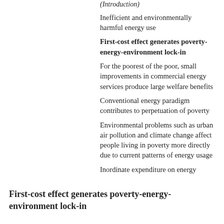(Introduction)
Inefficient and environmentally harmful energy use
First-cost effect generates poverty-energy-environment lock-in
For the poorest of the poor, small improvements in commercial energy services produce large welfare benefits
Conventional energy paradigm contributes to perpetuation of poverty
Environmental problems such as urban air pollution and climate change affect people living in poverty more directly due to current patterns of energy usage
Inordinate expenditure on energy
First-cost effect generates poverty-energy-environment lock-in